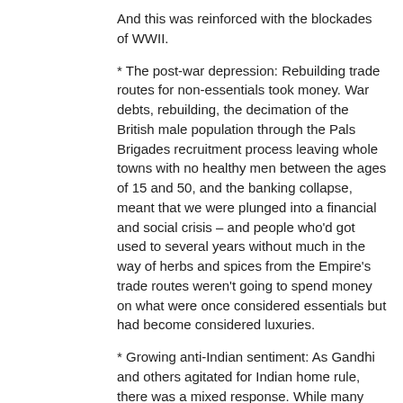And this was reinforced with the blockades of WWII.
* The post-war depression: Rebuilding trade routes for non-essentials took money. War debts, rebuilding, the decimation of the British male population through the Pals Brigades recruitment process leaving whole towns with no healthy men between the ages of 15 and 50, and the banking collapse, meant that we were plunged into a financial and social crisis – and people who'd got used to several years without much in the way of herbs and spices from the Empire's trade routes weren't going to spend money on what were once considered essentials but had become considered luxuries.
* Growing anti-Indian sentiment: As Gandhi and others agitated for Indian home rule, there was a mixed response. While many people had family connections to India through the armed forces and colonial